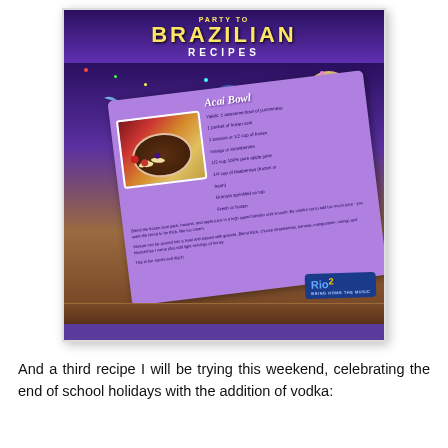[Figure (illustration): Rio 2 movie branded promotional image showing animated macaw birds flying against a purple night sky with moon and confetti, featuring a tilted purple recipe card for 'Acai Bowl' with ingredients and instructions, a photo of an acai bowl with fruit toppings, and the Rio 2 movie logo at the bottom right.]
And a third recipe I will be trying this weekend, celebrating the end of school holidays with the addition of vodka: